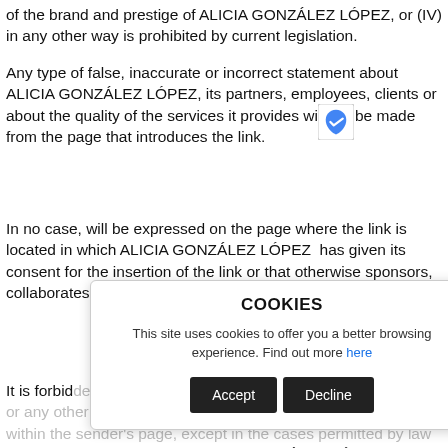of the brand and prestige of ALICIA GONZÁLEZ LÓPEZ, or (IV) in any other way is prohibited by current legislation.
Any type of false, inaccurate or incorrect statement about ALICIA GONZÁLEZ LÓPEZ, its partners, employees, clients or about the quality of the services it provides will not be made from the page that introduces the link.
In no case, will be expressed on the page where the link is located in which ALICIA GONZÁLEZ LÓPEZ has given its consent for the insertion of the link or that otherwise sponsors, collaborates, verifies or supervises the services of the sender.
It is forbidden the use of any word mark, graphic or mixed mark or any other distinctive sign of ALICIA GONZÁLEZ LÓPEZ within the sender's page, except in the cases permitted by law or expressly authorized by ALICIA GONZÁLEZ LÓPEZ and provided that, in the cases, a direct link to the Portal is permitted in the
COOKIES
This site uses cookies to offer you a better browsing experience. Find out more here
Accept  Decline